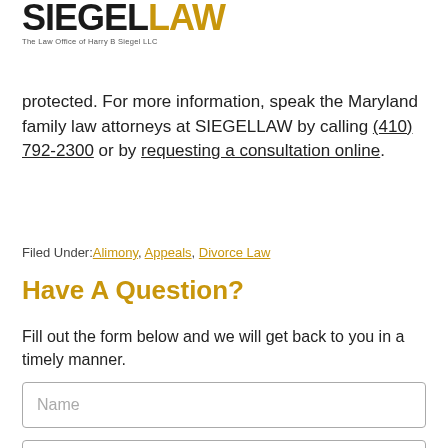[Figure (logo): SIEGELLAW logo with tagline 'The Law Office of Harry B Siegel LLC']
protected. For more information, speak the Maryland family law attorneys at SIEGELLAW by calling (410) 792-2300 or by requesting a consultation online.
Filed Under: Alimony, Appeals, Divorce Law
Have A Question?
Fill out the form below and we will get back to you in a timely manner.
Name
Email